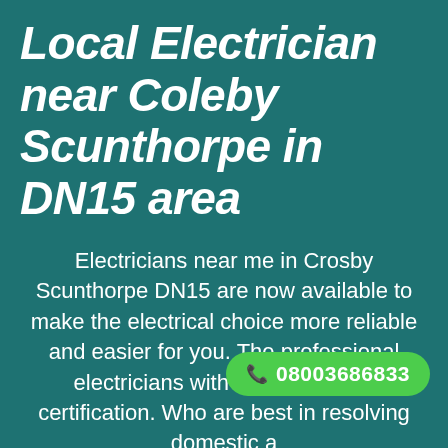Local Electrician near Coleby Scunthorpe in DN15 area
Electricians near me in Crosby Scunthorpe DN15 are now available to make the electrical choice more reliable and easier for you. The professional electricians with city and guilds certification. Who are best in resolving domestic a... electrical disputes. What are you
[Figure (other): Green rounded call-to-action button with phone icon and number 08003686833]